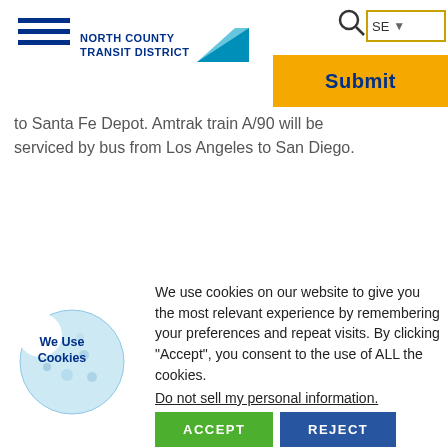North County Transit District — header with hamburger menu, logo, search box, and Submit button
to Santa Fe Depot. Amtrak train A/90 will be serviced by bus from Los Angeles to San Diego.
[Figure (screenshot): Cookie consent modal with cookie icon, text about cookie use, Do not sell my personal information link, ACCEPT button, and REJECT button]
We use cookies on our website to give you the most relevant experience by remembering your preferences and repeat visits. By clicking “Accept”, you consent to the use of ALL the cookies.
Do not sell my personal information.